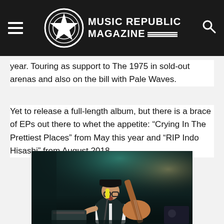Music Republic Magazine
year. Touring as support to The 1975 in sold-out arenas and also on the bill with Pale Waves.
Yet to release a full-length album, but there is a brace of EPs out there to whet the appetite: “Crying In The Prettiest Places” from May this year and “RIP Indo Hisashi” from August 2018.
[Figure (photo): Concert photo of a musician with glasses singing into a microphone and playing guitar on a dark stage with teal/green stage lighting]